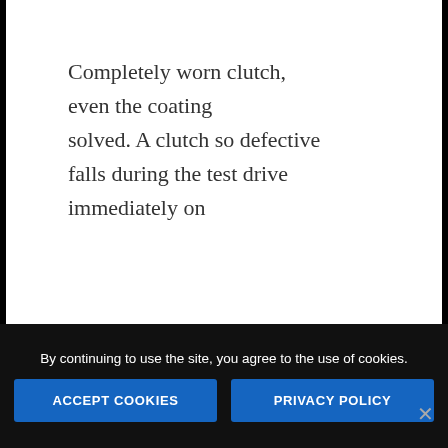Completely worn clutch, even the coating solved. A clutch so defective falls during the test drive immediately on
By continuing to use the site, you agree to the use of cookies.
ACCEPT COOKIES
PRIVACY POLICY